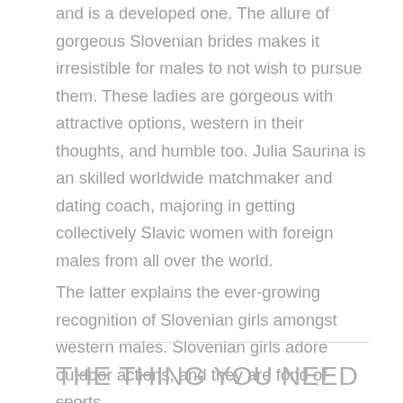and is a developed one. The allure of gorgeous Slovenian brides makes it irresistible for males to not wish to pursue them. These ladies are gorgeous with attractive options, western in their thoughts, and humble too. Julia Saurina is an skilled worldwide matchmaker and dating coach, majoring in getting collectively Slavic women with foreign males from all over the world.
The latter explains the ever-growing recognition of Slovenian girls amongst western males. Slovenian girls adore outdoor actions, and they are fond of sports.
THE THING YOU NEED TO UNDERSTAND ABOUT